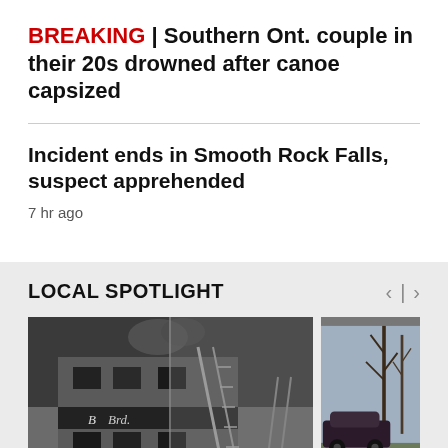BREAKING | Southern Ont. couple in their 20s drowned after canoe capsized
Incident ends in Smooth Rock Falls, suspect apprehended
7 hr ago
LOCAL SPOTLIGHT
[Figure (photo): Black and white historical photo of a building fire with firefighters, ladders extended against a multi-story building with signage reading 'Brd']
[Figure (photo): Color photo of a dark car parked near bare trees in a field]